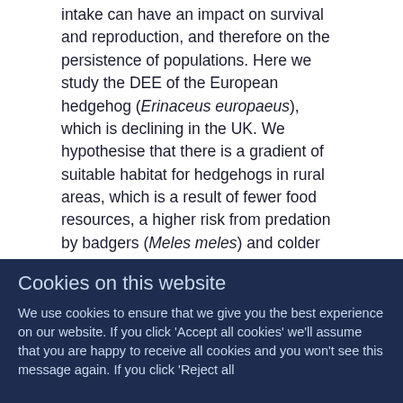Failure to balance daily energy expenditure (DEE) with energy intake can have an impact on survival and reproduction, and therefore on the persistence of populations. Here we study the DEE of the European hedgehog (Erinaceus europaeus), which is declining in the UK. We hypothesise that there is a gradient of suitable habitat for hedgehogs in rural areas, which is a result of fewer food resources, a higher risk from predation by badgers (Meles meles) and colder ambient temperatures, as distance to the nearest building increases. We used the doubly labelled water method to obtain 44 measurements of DEE from hedgehogs on four predominately arable sites, to determine the energetic costs associated with proximity to buildings, on sites with and without badgers. The mean±s.e.m.
Cookies on this website
We use cookies to ensure that we give you the best experience on our website. If you click 'Accept all cookies' we'll assume that you are happy to receive all cookies and you won't see this message again. If you click 'Reject all